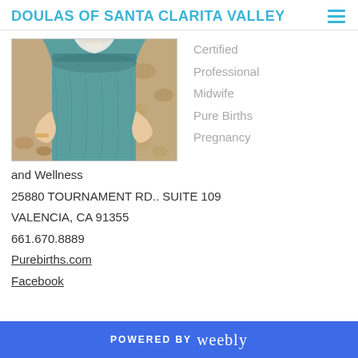DOULAS OF SANTA CLARITA VALLEY
[Figure (photo): Photo of a person wearing a teal/green dress, showing the torso and hands, with a blurred outdoor background of pebbles/ground]
Certified
Professional
Midwife
Pure Births
Pregnancy
and Wellness
25880 TOURNAMENT RD.. SUITE  109
VALENCIA, CA 91355
661.670.8889
Purebirths.com
Facebook
POWERED BY weebly